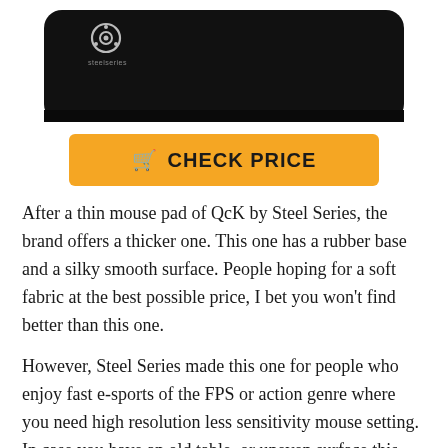[Figure (photo): Black SteelSeries QcK mouse pad with the SteelSeries logo visible in the upper left corner, shown from above at a slight angle, cropped at the top of the page]
[Figure (other): Orange 'CHECK PRICE' button with a shopping cart icon on the left]
After a thin mouse pad of QcK by Steel Series, the brand offers a thicker one. This one has a rubber base and a silky smooth surface. People hoping for a soft fabric at the best possible price, I bet you won't find better than this one.
However, Steel Series made this one for people who enjoy fast e-sports of the FPS or action genre where you need high resolution less sensitivity mouse setting. In case you have an old table, or uneven surface this thick mouse mat will not let it interrupt you from enjoying a flawless experience. Moreover, on the contrary, it also works exceedingly well on the soft surface as well.